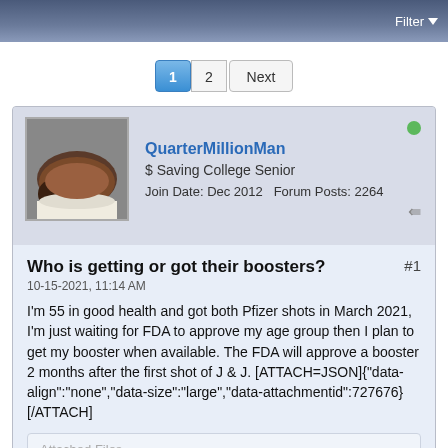Filter
1  2  Next
QuarterMillionMan
$ Saving College Senior
Join Date: Dec 2012    Forum Posts: 2264
Who is getting or got their boosters?
#1
10-15-2021, 11:14 AM
I'm 55 in good health and got both Pfizer shots in March 2021, I'm just waiting for FDA to approve my age group then I plan to get my booster when available. The FDA will approve a booster 2 months after the first shot of J & J. [ATTACH=JSON]{"data-align":"none","data-size":"large","data-attachmentid":727676}[/ATTACH]
Attached Files
[Figure (screenshot): A screenshot of a TV news broadcast showing a news anchor with blue background and lower-third graphics.]